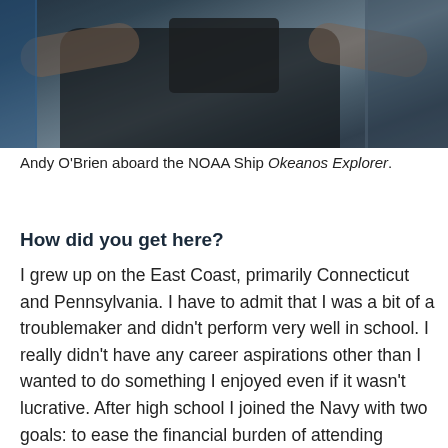[Figure (photo): Andy O'Brien aboard the NOAA Ship Okeanos Explorer, holding a tablet device in what appears to be a technical/equipment room.]
Andy O'Brien aboard the NOAA Ship Okeanos Explorer.
How did you get here?
I grew up on the East Coast, primarily Connecticut and Pennsylvania. I have to admit that I was a bit of a troublemaker and didn’t perform very well in school. I really didn’t have any career aspirations other than I wanted to do something I enjoyed even if it wasn’t lucrative. After high school I joined the Navy with two goals: to ease the financial burden of attending college on my family, and to prove (to myself) that I deserved to go. I choose to pursue Electronics Technician training because it was